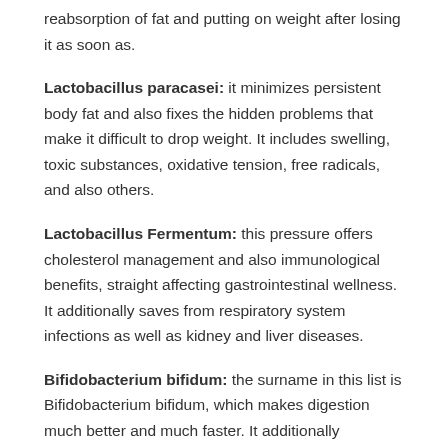reabsorption of fat and putting on weight after losing it as soon as.
Lactobacillus paracasei: it minimizes persistent body fat and also fixes the hidden problems that make it difficult to drop weight. It includes swelling, toxic substances, oxidative tension, free radicals, and also others.
Lactobacillus Fermentum: this pressure offers cholesterol management and also immunological benefits, straight affecting gastrointestinal wellness. It additionally saves from respiratory system infections as well as kidney and liver diseases.
Bifidobacterium bifidum: the surname in this list is Bifidobacterium bifidum, which makes digestion much better and much faster. It additionally regulates the horrible microorganisms in the gut and protects against typical digestive concerns.
Inulin: This component is prebiotic, which manages defecation as